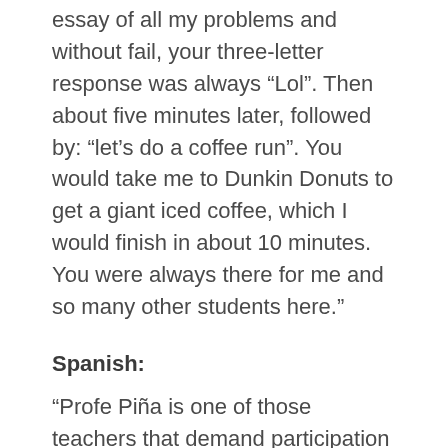essay of all my problems and without fail, your three-letter response was always “Lol”. Then about five minutes later, followed by: “let’s do a coffee run”. You would take me to Dunkin Donuts to get a giant iced coffee, which I would finish in about 10 minutes. You were always there for me and so many other students here.”
Spanish:
“Profe Piña is one of those teachers that demand participation from students, and his energy during class provides the exact environment where students can speak up, without restraint. He established a place where I was not always self-conscious if